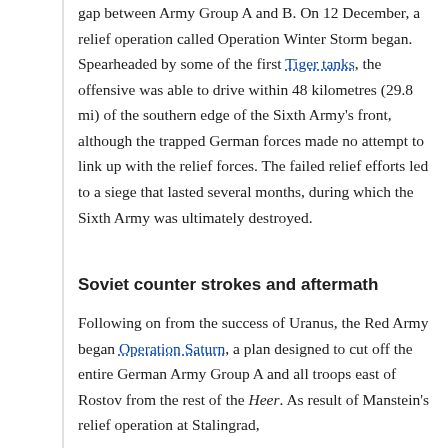gap between Army Group A and B. On 12 December, a relief operation called Operation Winter Storm began. Spearheaded by some of the first Tiger tanks, the offensive was able to drive within 48 kilometres (29.8 mi) of the southern edge of the Sixth Army's front, although the trapped German forces made no attempt to link up with the relief forces. The failed relief efforts led to a siege that lasted several months, during which the Sixth Army was ultimately destroyed.
Soviet counter strokes and aftermath
Following on from the success of Uranus, the Red Army began Operation Saturn, a plan designed to cut off the entire German Army Group A and all troops east of Rostov from the rest of the Heer. As result of Manstein's relief operation at Stalingrad,